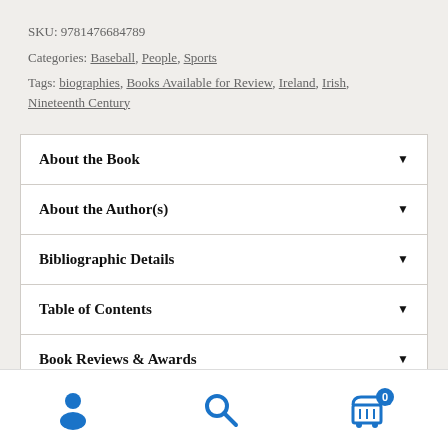SKU: 9781476684789
Categories: Baseball, People, Sports
Tags: biographies, Books Available for Review, Ireland, Irish, Nineteenth Century
About the Book
About the Author(s)
Bibliographic Details
Table of Contents
Book Reviews & Awards
[Figure (other): Bottom navigation bar with user account icon, search icon, and shopping cart icon with badge showing 0]